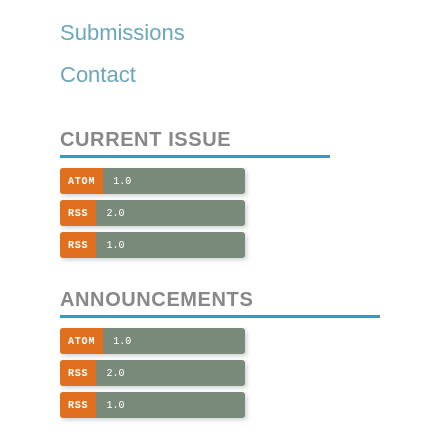Submissions
Contact
CURRENT ISSUE
[Figure (infographic): Feed badge: ATOM 1.0]
[Figure (infographic): Feed badge: RSS 2.0]
[Figure (infographic): Feed badge: RSS 1.0]
ANNOUNCEMENTS
[Figure (infographic): Feed badge: ATOM 1.0]
[Figure (infographic): Feed badge: RSS 2.0]
[Figure (infographic): Feed badge: RSS 1.0]